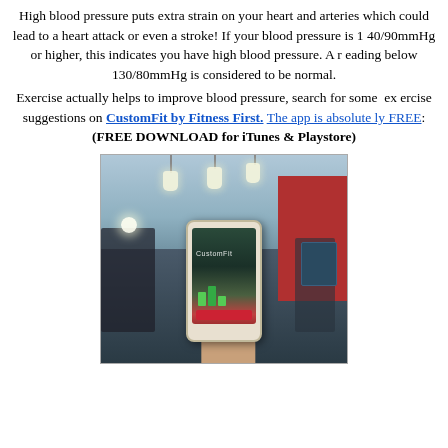High blood pressure puts extra strain on your heart and arteries which could lead to a heart attack or even a stroke! If your blood pressure is 140/90mmHg or higher, this indicates you have high blood pressure. A reading below 130/80mmHg is considered to be normal.
Exercise actually helps to improve blood pressure, search for some exercise suggestions on CustomFit by Fitness First. The app is absolutely FREE: (FREE DOWNLOAD for iTunes & Playstore)
[Figure (photo): A hand holding a smartphone displaying the CustomFit app, in a gym environment with exercise equipment, red wall, and pendant lights in the background.]